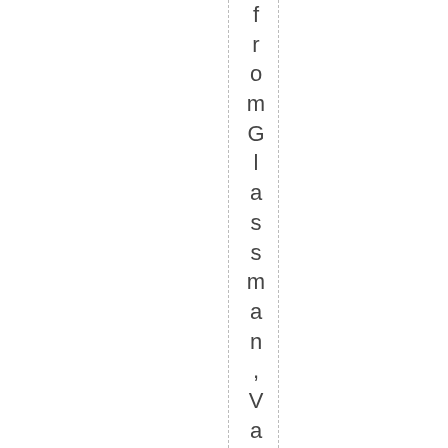fromGlassman, ValDann, verammo